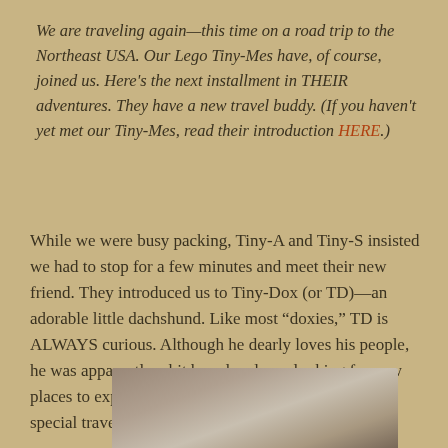We are traveling again—this time on a road trip to the Northeast USA. Our Lego Tiny-Mes have, of course, joined us. Here's the next installment in THEIR adventures. They have a new travel buddy. (If you haven't yet met our Tiny-Mes, read their introduction HERE.)
While we were busy packing, Tiny-A and Tiny-S insisted we had to stop for a few minutes and meet their new friend. They introduced us to Tiny-Dox (or TD)—an adorable little dachshund. Like most "doxies," TD is ALWAYS curious. Although he dearly loves his people, he was apparently a bit bored and was looking for new places to explore. They proposed he join us as their special travel buddy.
[Figure (photo): Partially visible photo at the bottom of the page, showing what appears to be a rocky or textured surface, cropped.]